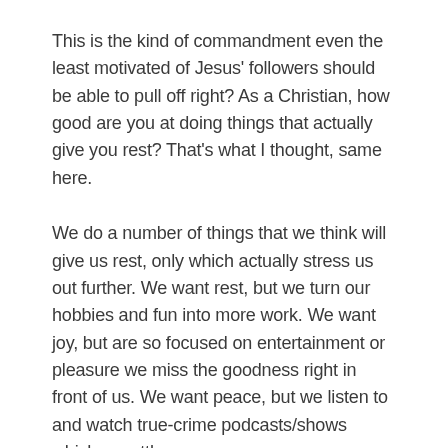This is the kind of commandment even the least motivated of Jesus' followers should be able to pull off right? As a Christian, how good are you at doing things that actually give you rest? That's what I thought, same here.
We do a number of things that we think will give us rest, only which actually stress us out further. We want rest, but we turn our hobbies and fun into more work. We want joy, but are so focused on entertainment or pleasure we miss the goodness right in front of us. We want peace, but we listen to and watch true-crime podcasts/shows which unsettle us.
It would seem to me we live in the era of constant stimulation and productivity. We fail at rest.